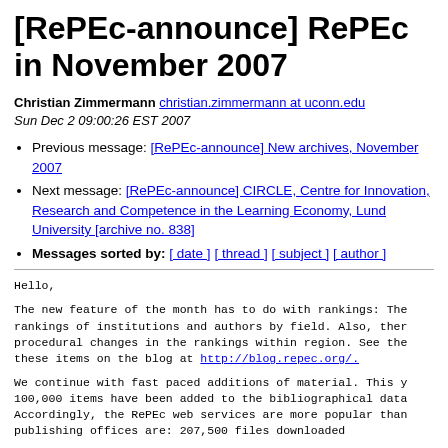[RePEc-announce] RePEc in November 2007
Christian Zimmermann christian.zimmermann at uconn.edu
Sun Dec 2 09:00:26 EST 2007
Previous message: [RePEc-announce] New archives, November 2007
Next message: [RePEc-announce] CIRCLE, Centre for Innovation, Research and Competence in the Learning Economy, Lund University [archive no. 838]
Messages sorted by: [ date ] [ thread ] [ subject ] [ author ]
Hello,
The new feature of the month has to do with rankings: The rankings of institutions and authors by field. Also, there are procedural changes in the rankings within region. See these items on the blog at http://blog.repec.org/.
We continue with fast paced additions of material. This year 100,000 items have been added to the bibliographical data. Accordingly, the RePEc web services are more popular than publishing offices are: 207,500 files downloaded